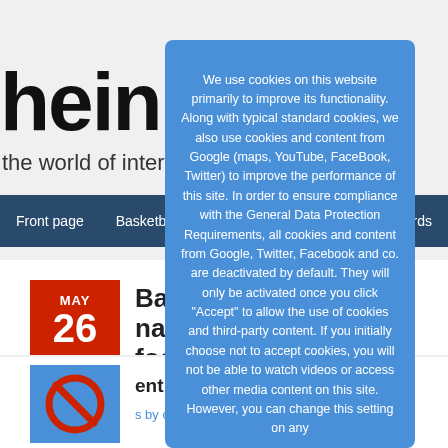hein[news] the world of inter[national sports]
Front page | Basketball | Podcasts | Custom Cards
Bauer[mann] with U21 national footballers
MAY 26
COMMENTS ARE DISABLED
[Figure (other): No-sign icon on blue background for unavailable content]
content not available. by clicking Accept on
We use cookies on this website primarily to improve its functionality. Along with typical standard cookies, we also use cookies and content from Google (maps, YouTube, FaceBook, Twitter) to improve the performance of this site. In order to ensure compliance with the General Data Protection Requirements, all cookies and content from Google, Twitter, Facebook and co. are deactivated by default. They will only be activated once you click "Accept" to allow the use of cookies and third-party content. If you initially choose not to accept cookies, you will not be able to watch videos or access other media content on this site. However, you can change this setting on any